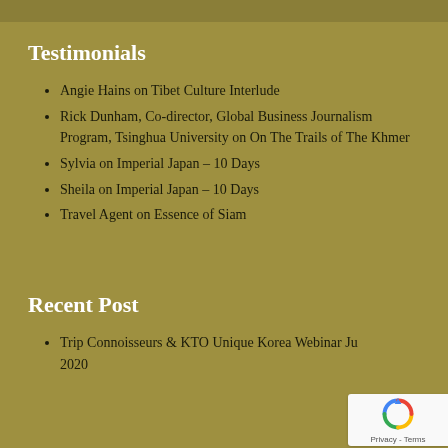Testimonials
Angie Hains on Tibet Culture Interlude
Rick Dunham, Co-director, Global Business Journalism Program, Tsinghua University on On The Trails of The Khmer
Sylvia on Imperial Japan – 10 Days
Sheila on Imperial Japan – 10 Days
Travel Agent on Essence of Siam
Recent Post
Trip Connoisseurs & KTO Unique Korea Webinar June 2020